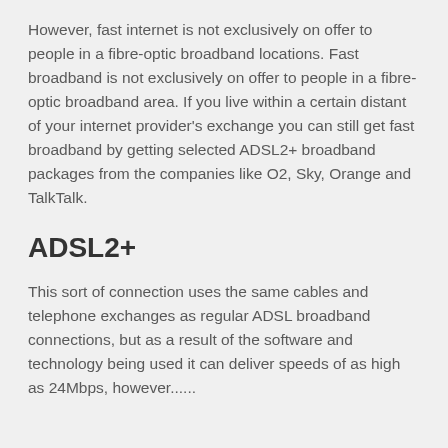However, fast internet is not exclusively on offer to people in a fibre-optic broadband locations. Fast broadband is not exclusively on offer to people in a fibre-optic broadband area. If you live within a certain distant of your internet provider's exchange you can still get fast broadband by getting selected ADSL2+ broadband packages from the companies like O2, Sky, Orange and TalkTalk.
ADSL2+
This sort of connection uses the same cables and telephone exchanges as regular ADSL broadband connections, but as a result of the software and technology being used it can deliver speeds of as high as 24Mbps, however.....